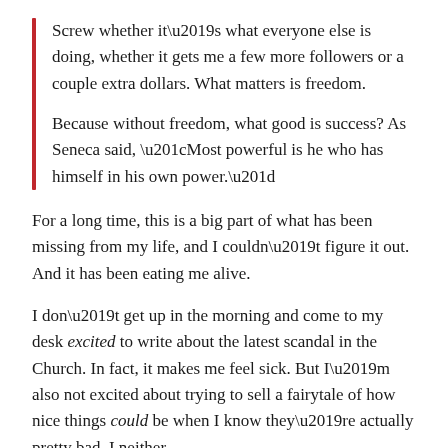Screw whether it's what everyone else is doing, whether it gets me a few more followers or a couple extra dollars. What matters is freedom.
Because without freedom, what good is success? As Seneca said, “Most powerful is he who has himself in his own power.”
For a long time, this is a big part of what has been missing from my life, and I couldn’t figure it out. And it has been eating me alive.
I don’t get up in the morning and come to my desk excited to write about the latest scandal in the Church. In fact, it makes me feel sick. But I’m also not excited about trying to sell a fairytale of how nice things could be when I know they’re actually pretty bad. I neither